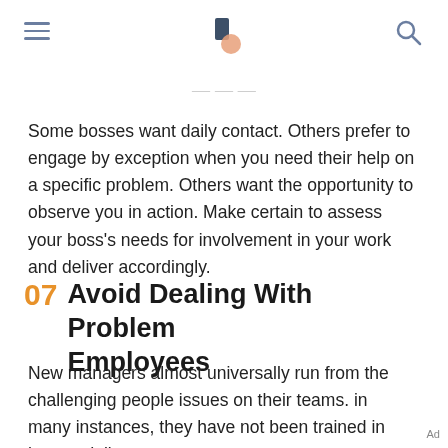[logo, hamburger menu, search icon]
Some bosses want daily contact. Others prefer to engage by exception when you need their help on a specific problem. Others want the opportunity to observe you in action. Make certain to assess your boss's needs for involvement in your work and deliver accordingly.
07 Avoid Dealing With Problem Employees
New managers almost universally run from the challenging people issues on their teams. in many instances, they have not been trained in how to deliver
Ad